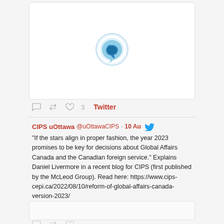[Figure (screenshot): Tweet card showing a circular logo/icon (blue Quora-style icon) inside a white bordered box]
♡ 3   Twitter
CIPS uOttawa  @uOttawaCIPS  ·  10 Aug
"If the stars align in proper fashion, the year 2023 promises to be key for decisions about Global Affairs Canada and the Canadian foreign service." Explains Daniel Livermore in a recent blog for CIPS (first published by the McLeod Group). Read here: https://www.cips-cepi.ca/2022/08/10/reform-of-global-affairs-canada-version-2023/
[Figure (screenshot): Empty white image placeholder box below the tweet text]